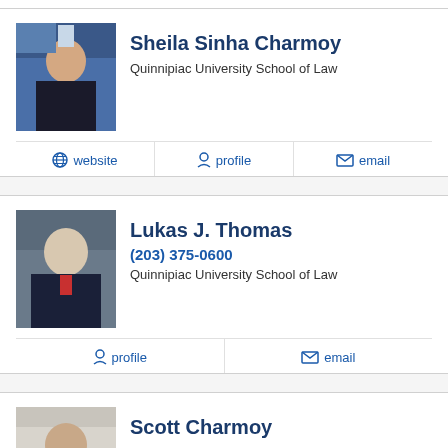[Figure (photo): Profile photo of Sheila Sinha Charmoy, a woman with long dark hair]
Sheila Sinha Charmoy
Quinnipiac University School of Law
website | profile | email
[Figure (photo): Profile photo of Lukas J. Thomas, an older man in a suit with red tie]
Lukas J. Thomas
(203) 375-0600
Quinnipiac University School of Law
profile | email
[Figure (photo): Profile photo of Scott Charmoy, a man with glasses in a suit]
Scott Charmoy
Washington University School of Law